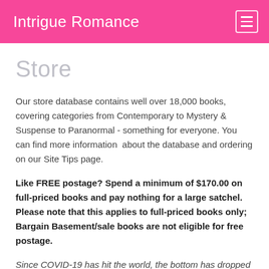Intrigue Romance
Store
Our store database contains well over 18,000 books, covering categories from Contemporary to Mystery & Suspense to Paranormal - something for everyone. You can find more information  about the database and ordering on our Site Tips page.
Like FREE postage? Spend a minimum of $170.00 on full-priced books and pay nothing for a large satchel. Please note that this applies to full-priced books only; Bargain Basement/sale books are not eligible for free postage.
Since COVID-19 has hit the world, the bottom has dropped out of the Australian dollar value against the US dollar. As a result, we've been forced to increase the price of most books, some quite drastically. We are going through the database changing prices, but this is a mammoth task and your patience is requested should you order